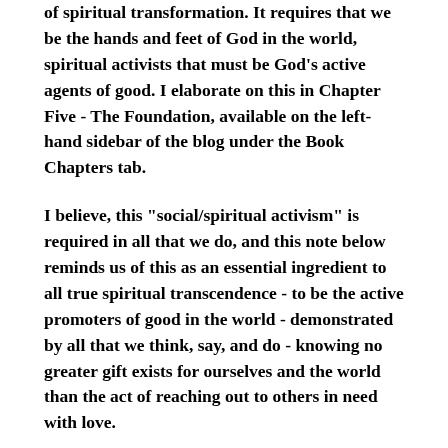of spiritual transformation. It requires that we be the hands and feet of God in the world, spiritual activists that must be God's active agents of good. I elaborate on this in Chapter Five - The Foundation, available on the left-hand sidebar of the blog under the Book Chapters tab.
I believe, this "social/spiritual activism" is required in all that we do, and this note below reminds us of this as an essential ingredient to all true spiritual transcendence - to be the active promoters of good in the world - demonstrated by all that we think, say, and do - knowing no greater gift exists for ourselves and the world than the act of reaching out to others in need with love.
I strongly believe, as a matter of...